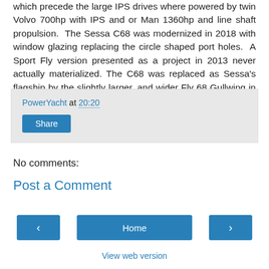which precede the large IPS drives where powered by twin Volvo 700hp with IPS and or Man 1360hp and line shaft propulsion. The Sessa C68 was modernized in 2018 with window glazing replacing the circle shaped port holes. A Sport Fly version presented as a project in 2013 never actually materialized. The C68 was replaced as Sessa's flagship by the slightly larger, and wider Fly 68 Gullwing in 2018.
PowerYacht at 20:20
Share
No comments:
Post a Comment
‹
Home
›
View web version